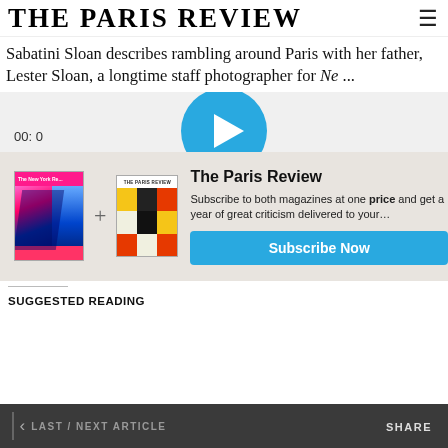THE PARIS REVIEW
Sabatini Sloan describes rambling around Paris with her father, Lester Sloan, a longtime staff photographer for Ne ...
[Figure (other): Blue circular play button for a video player]
[Figure (other): Subscription modal showing two magazine covers (The New York Review and The Paris Review) with a plus sign between them, a title 'The Paris Review', subscription text, and a blue Subscribe Now button]
SUGGESTED READING
< LAST / NEXT ARTICLE    SHARE